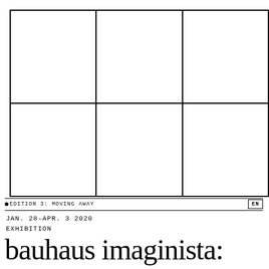[Figure (other): A 2x3 grid of empty white cells with black borders, arranged in two rows and three columns, serving as a layout or image placeholder grid]
•EDITION 3: MOVING AWAY
EN
JAN. 28-APR. 3 2020
EXHIBITION
bauhaus imaginista: